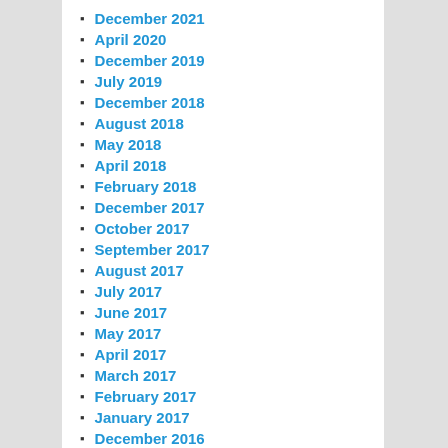December 2021
April 2020
December 2019
July 2019
December 2018
August 2018
May 2018
April 2018
February 2018
December 2017
October 2017
September 2017
August 2017
July 2017
June 2017
May 2017
April 2017
March 2017
February 2017
January 2017
December 2016